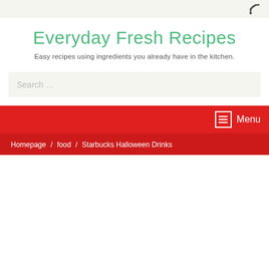RSS icon
Everyday Fresh Recipes
Easy recipes using ingredients you already have in the kitchen.
Search …
Menu
Homepage / food / Starbucks Halloween Drinks